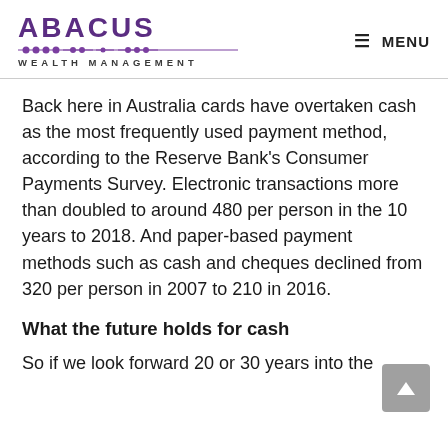ABACUS WEALTH MANAGEMENT  ☰ MENU
Back here in Australia cards have overtaken cash as the most frequently used payment method, according to the Reserve Bank's Consumer Payments Survey. Electronic transactions more than doubled to around 480 per person in the 10 years to 2018. And paper-based payment methods such as cash and cheques declined from 320 per person in 2007 to 210 in 2016.
What the future holds for cash
So if we look forward 20 or 30 years into the